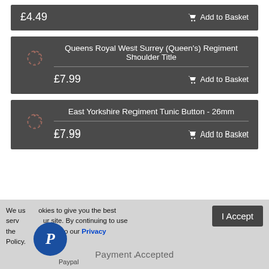£4.49   Add to Basket
Queens Royal West Surrey (Queen's) Regiment Shoulder Title
£7.99   Add to Basket
East Yorkshire Regiment Tunic Button - 26mm
£7.99   Add to Basket
We use cookies to give you the best service on our site. By continuing to use the site you consent to our Privacy Policy.
Payment Accepted
Paypal
I Accept